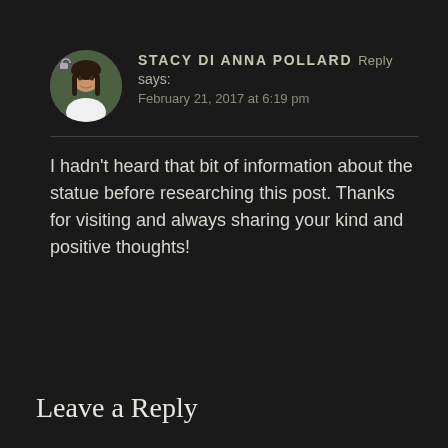[Figure (photo): Circular avatar photo of a woman with long dark hair wearing a white top, with a green background.]
STACY DI ANNA POLLARD Reply
says:
February 21, 2017 at 6:19 pm
I hadn't heard that bit of information about the statue before researching this post. Thanks for visiting and always sharing your kind and positive thoughts!
Leave a Reply